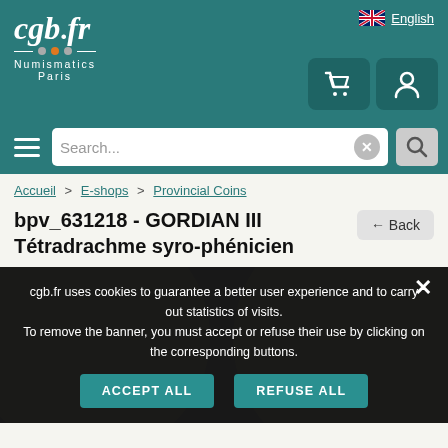[Figure (logo): cgb.fr Numismatics Paris logo in white on teal background]
English
[Figure (screenshot): Shopping cart and user account icon buttons in teal]
[Figure (screenshot): Search bar with hamburger menu, search input field with X clear button, and search magnifier button]
Accueil > E-shops > Provincial Coins
bpv_631218 - GORDIAN III Tétradrachme syro-phénicien
← Back
[Figure (photo): Ancient Roman coin showing portrait on dark background]
cgb.fr uses cookies to guarantee a better user experience and to carry out statistics of visits.
To remove the banner, you must accept or refuse their use by clicking on the corresponding buttons.
ACCEPT ALL
REFUSE ALL